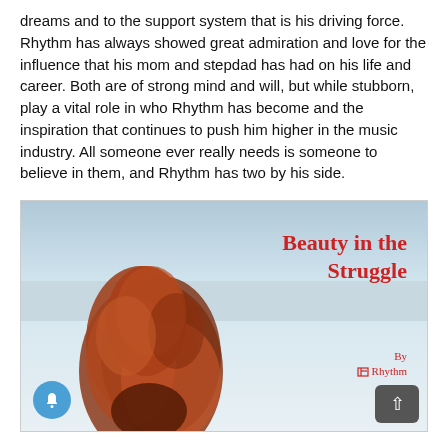dreams and to the support system that is his driving force. Rhythm has always showed great admiration and love for the influence that his mom and stepdad has had on his life and career. Both are of strong mind and will, but while stubborn, play a vital role in who Rhythm has become and the inspiration that continues to push him higher in the music industry. All someone ever really needs is someone to believe in them, and Rhythm has two by his side.
[Figure (photo): Album cover image showing a reddish-brown tree shape against a light blue winter sky and snowy ground. Overlaid red text reads 'Beauty in the Struggle' with 'By' and a musical note icon followed by 'Rhythm' below.]